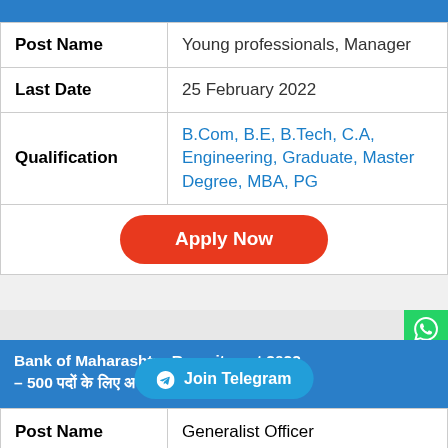| Field | Value |
| --- | --- |
| Post Name | Young professionals, Manager |
| Last Date | 25 February 2022 |
| Qualification | B.Com, B.E, B.Tech, C.A, Engineering, Graduate, Master Degree, MBA, PG |
Apply Now
Bank of Maharashtra Recruitment 2022 – 500 [non-latin] [non-latin] [non-latin] [non-latin] [non-latin] [non-latin] [non-latin]
| Field | Value |
| --- | --- |
| Post Name | Generalist Officer |
| Last Date | 22 February 2022 |
| Qualification | C.A, Graduate |